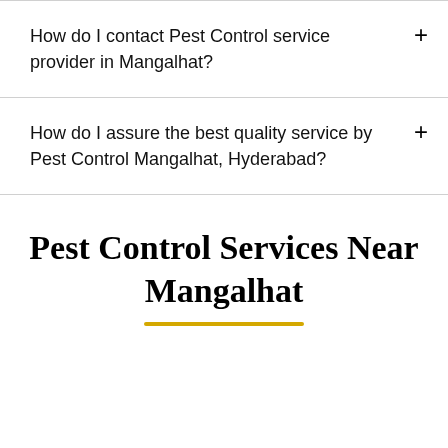How do I contact Pest Control service provider in Mangalhat?
How do I assure the best quality service by Pest Control Mangalhat, Hyderabad?
Pest Control Services Near Mangalhat